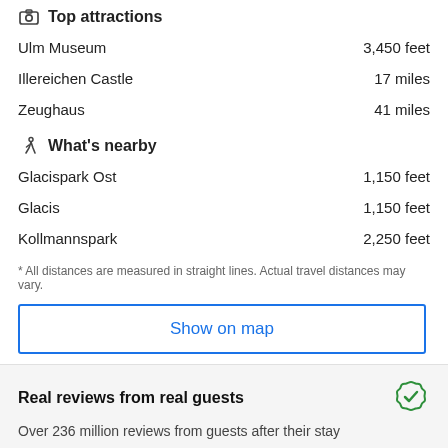Top attractions
Ulm Museum   3,450 feet
Illereichen Castle   17 miles
Zeughaus   41 miles
What's nearby
Glacispark Ost   1,150 feet
Glacis   1,150 feet
Kollmannspark   2,250 feet
* All distances are measured in straight lines. Actual travel distances may vary.
Show on map
Real reviews from real guests
Over 236 million reviews from guests after their stay
Hotel Policies